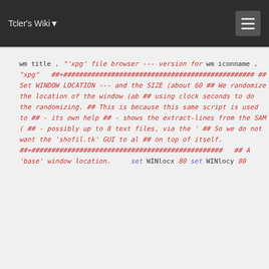Tcler's Wiki
wm title    . "'xpg' file browser --- version for
wm iconname . "xpg"

##+################################################
## Set WINDOW LOCATION --- and the SIZE (about 60
##      We randomize the location of the window (ab
##      using clock seconds to do the randomizing.
##      This is because this same script is used to
##          - its own help
##          - shows the extract-lines from the SAM (
##          - possibly up to 8 text files, via the '
##      So we do not want the 'shofil.tk' GUI to al
##      on top of itself.
##+################################################

## A 'base' window location.

set WINlocx 80
set WINlocy 80